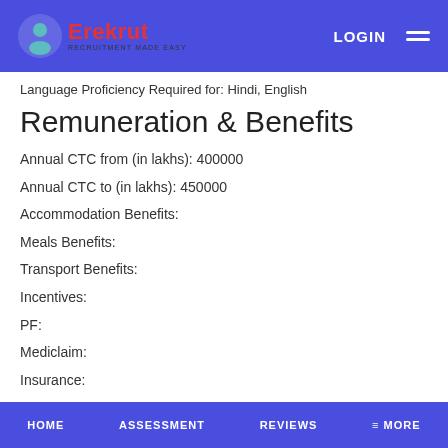Erekrut - LOGIN
Language Proficiency Required for: Hindi, English
Remuneration & Benefits
Annual CTC from (in lakhs): 400000
Annual CTC to (in lakhs): 450000
Accommodation Benefits:
Meals Benefits:
Transport Benefits:
Incentives:
PF:
Mediclaim:
Insurance:
HOME  ASSESSMENT  REVIEWS  ≡ MORE